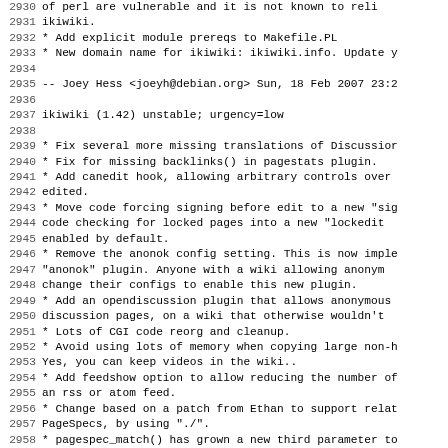Debian changelog / source code log snippet, lines 2930-2962, showing ikiwiki package changelog entries with line numbers.